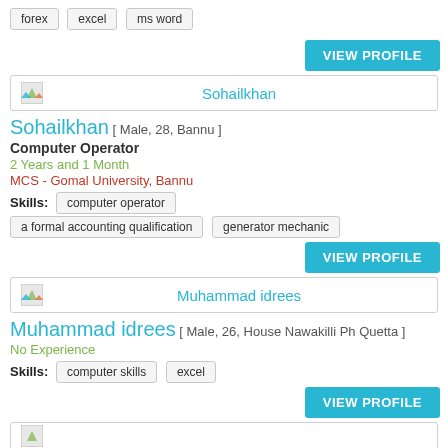forex   excel   ms word
VIEW PROFILE
Sohailkhan
Sohailkhan [ Male, 28, Bannu ]
Computer Operator
2 Years and 1 Month
MCS - Gomal University, Bannu
Skills:   computer operator   a formal accounting qualification   generator mechanic
VIEW PROFILE
Muhammad idrees
Muhammad idrees [ Male, 26, House Nawakilli Ph Quetta ]
No Experience
Skills:   computer skills   excel
VIEW PROFILE